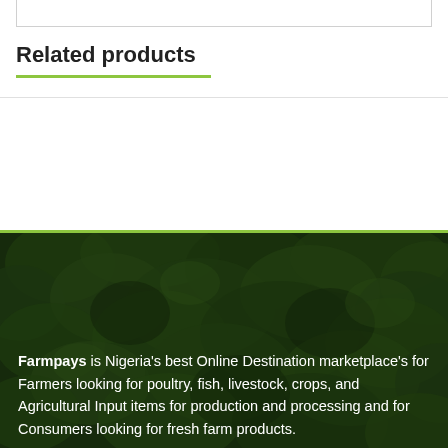Related products
[Figure (photo): Dark green foliage/vegetation aerial or close-up photograph used as footer background]
Farmpays is Nigeria's best Online Destination marketplace's for Farmers looking for poultry, fish, livestock, crops, and Agricultural Input items for production and processing and for Consumers looking for fresh farm products.